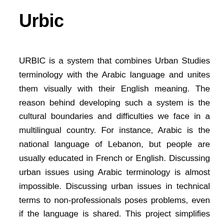Urbic
URBIC is a system that combines Urban Studies terminology with the Arabic language and unites them visually with their English meaning. The reason behind developing such a system is the cultural boundaries and difficulties we face in a multilingual country. For instance, Arabic is the national language of Lebanon, but people are usually educated in French or English. Discussing urban issues using Arabic terminology is almost impossible. Discussing urban issues in technical terms to non-professionals poses problems, even if the language is shared. This project simplifies urban terminology so that it can reach a